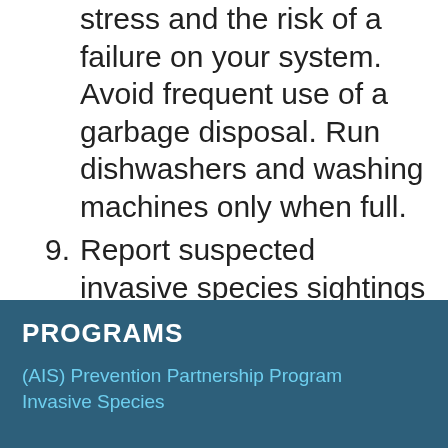stress and the risk of a failure on your system. Avoid frequent use of a garbage disposal. Run dishwashers and washing machines only when full.
9. Report suspected invasive species sightings and any environmental concerns to the lake manager.
10. Tell a friend. Share this list with friends and neighbors. Encourage them to try these tips.
PROGRAMS
(AIS) Prevention Partnership Program
Invasive Species